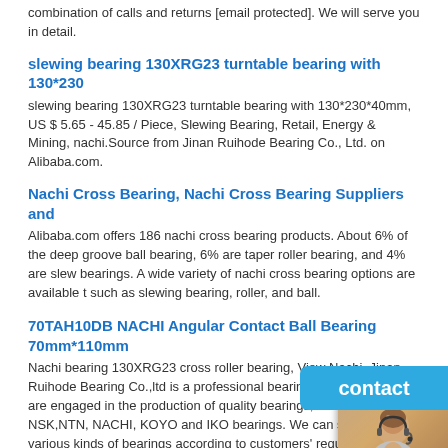combination of calls and returns [email protected]. We will serve you in detail.
slewing bearing 130XRG23 turntable bearing with 130*230
slewing bearing 130XRG23 turntable bearing with 130*230*40mm, US $ 5.65 - 45.85 / Piece, Slewing Bearing, Retail, Energy & Mining, nachi.Source from Jinan Ruihode Bearing Co., Ltd. on Alibaba.com.
Nachi Cross Bearing, Nachi Cross Bearing Suppliers and
Alibaba.com offers 186 nachi cross bearing products. About 6% of the deep groove ball bearing, 6% are taper roller bearing, and 4% are slew bearings. A wide variety of nachi cross bearing options are available t such as slewing bearing, roller, and ball.
[Figure (other): 24/7 Online chat widget with a customer service representative photo, 'Enter any requests, click here.' link, and an orange 'Quotation' button]
70TAH10DB NACHI Angular Contact Ball Bearing 70mm*110mm
Nachi bearing 130XRG23 cross roller bearing, View Nachi. Jinan Ruihode Bearing Co.,ltd is a professional bearing manufacturer. We are engaged in the production of quality bearings, such as NSK,NTN, NACHI, KOYO and IKO bearings. We can supply various kinds of bearings according to customers' requirements.
NACHI 160TAH10DB bearing 160x240x36 - bea
NACHI 160TAH10DB Bearing – Ball Roller Bearings Supplier , More details
[Figure (other): Blue 'contact' button widget in the bottom right]